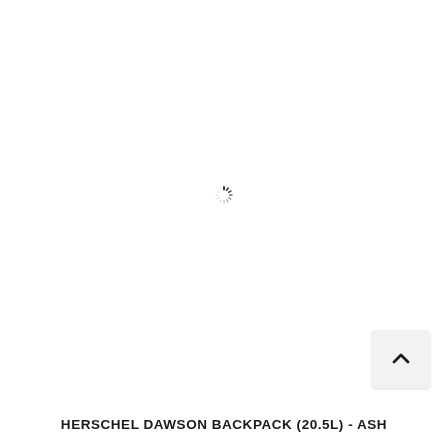[Figure (screenshot): Loading spinner icon (animated circular loader) centered in a white content area, indicating a product image is loading.]
[Figure (screenshot): Back-to-top button: a rounded square button with a chevron/caret pointing upward, positioned in the bottom-right corner of the page.]
HERSCHEL DAWSON BACKPACK (20.5L) - ASH